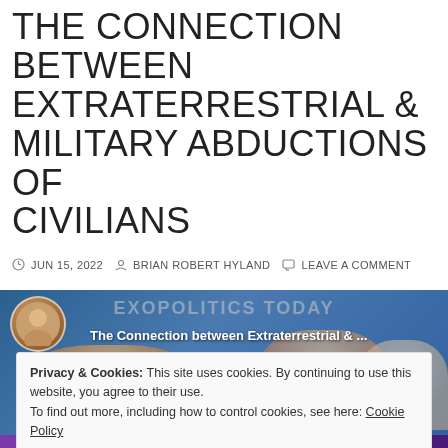THE CONNECTION BETWEEN EXTRATERRESTRIAL & MILITARY ABDUCTIONS OF CIVILIANS
JUN 15, 2022   BRIAN ROBERT HYLAND   LEAVE A COMMENT
[Figure (screenshot): Video thumbnail for 'The Connection between Extraterrestrial & ...' from Exopolitics Today, showing a man's face and other figures in a blue broadcast-style background]
Privacy & Cookies: This site uses cookies. By continuing to use this website, you agree to their use.
To find out more, including how to control cookies, see here: Cookie Policy
Close and accept